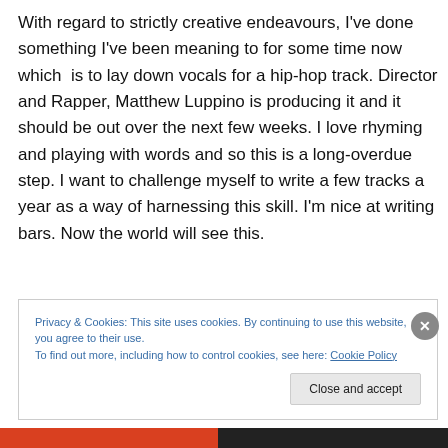With regard to strictly creative endeavours, I've done something I've been meaning to for some time now which is to lay down vocals for a hip-hop track. Director and Rapper, Matthew Luppino is producing it and it should be out over the next few weeks. I love rhyming and playing with words and so this is a long-overdue step. I want to challenge myself to write a few tracks a year as a way of harnessing this skill. I'm nice at writing bars. Now the world will see this.
Privacy & Cookies: This site uses cookies. By continuing to use this website, you agree to their use. To find out more, including how to control cookies, see here: Cookie Policy